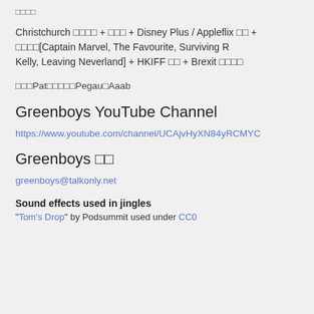□□□□
Christchurch □□□□ + □□□ + Disney Plus / Appleflix □□ + □□□□[Captain Marvel, The Favourite, Surviving R Kelly, Leaving Neverland] + HKIFF □□ + Brexit □□□□
□□□Pat□□□□□Pegau□Aaab
Greenboys YouTube Channel
https://www.youtube.com/channel/UCAjvHyXN84yRCMYC
Greenboys □□
greenboys@talkonly.net
Sound effects used in jingles
"Tom's Drop" by Podsummit used under CC0